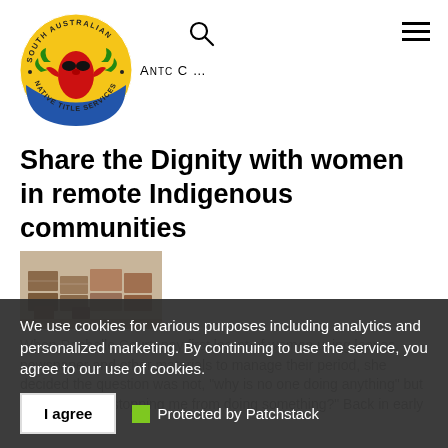[Figure (logo): South Australian Native Title Services circular logo with stylized indigenous figure in red on yellow/blue background, text around circle border]
Share the Dignity with women in remote Indigenous communities
[Figure (photo): Photo of boxes and containers stacked, appears to be supplies or donations]
When Rochelle Courtenay first learnt of women using leaves, newspaper and other materials to manage their period, she decided the question was not, "why is no one doing anything" but rather, "what's stopping me from doing something?" Back in early
We use cookies for various purposes including analytics and personalized marketing. By continuing to use the service, you agree to our use of cookies.